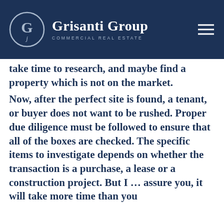Grisanti Group COMMERCIAL REAL ESTATE
take time to research, and maybe find a property which is not on the market. Now, after the perfect site is found, a tenant, or buyer does not want to be rushed. Proper due diligence must be followed to ensure that all of the boxes are checked. The specific items to investigate depends on whether the transaction is a purchase, a lease or a construction project. But I … assure you, it will take more time than you